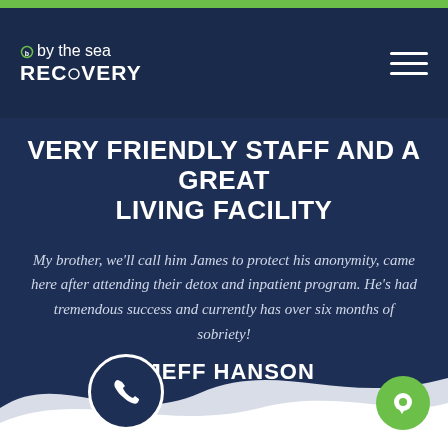[Figure (logo): By the Sea Recovery logo with white text on dark navy background]
VERY FRIENDLY STAFF AND A GREAT LIVING FACILITY
My brother, we'll call him James to protect his anonymity, came here after attending their detox and inpatient program. He's had tremendous success and currently has over six months of sobriety!
- JEFF HANSON
[Figure (illustration): Green horizontal line with green closing quotation marks at right end]
[Figure (illustration): White wave shape at bottom of page with phone icon circle and green chat circle]